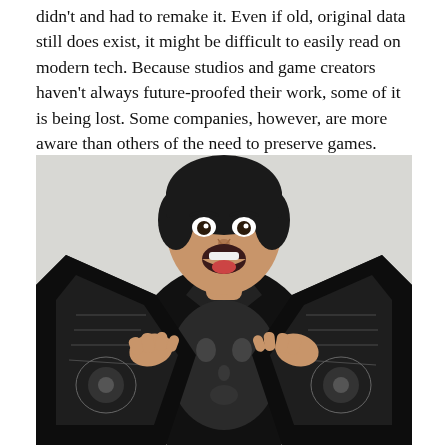didn't and had to remake it. Even if old, original data still does exist, it might be difficult to easily read on modern tech. Because studios and game creators haven't always future-proofed their work, some of it is being lost. Some companies, however, are more aware than others of the need to preserve games.
[Figure (photo): A man wearing a black jacket open to reveal a black shirt with a large face printed on it, holding the jacket open with both hands and making an expressive open-mouthed face toward the camera.]